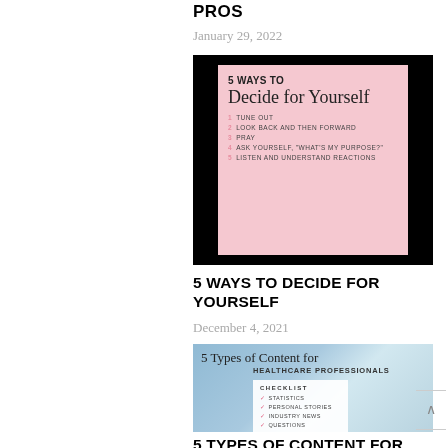PROS
January 29, 2022
[Figure (infographic): Pink infographic titled '5 WAYS TO Decide for Yourself' with 5 numbered items: 1. Tune Out, 2. Look Back and Then Forward, 3. Pray, 4. Ask Yourself, 'What's My Purpose?', 5. Listen and Understand Reactions]
5 WAYS TO DECIDE FOR YOURSELF
December 4, 2021
[Figure (infographic): Healthcare professionals infographic titled '5 Types of Content for Healthcare Professionals' with a checklist showing: Statistics, Personal Stories, Industry News, Questions, Patient Stories]
5 TYPES OF CONTENT FOR